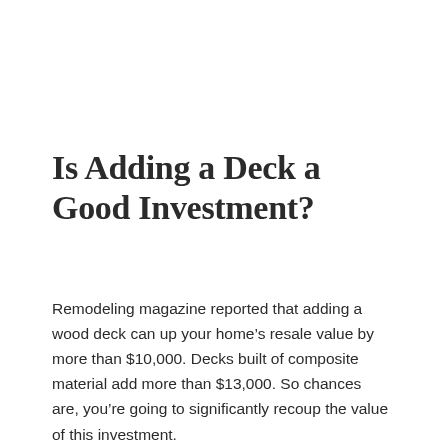Is Adding a Deck a Good Investment?
Remodeling magazine reported that adding a wood deck can up your home's resale value by more than $10,000. Decks built of composite material add more than $13,000. So chances are, you're going to significantly recoup the value of this investment.